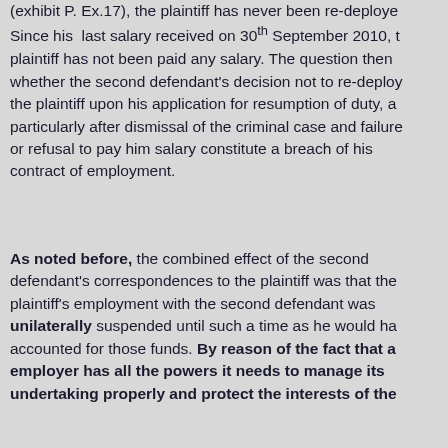(exhibit P. Ex.17), the plaintiff has never been re-deployed. Since his last salary received on 30th September 2010, the plaintiff has not been paid any salary. The question then is whether the second defendant's decision not to re-deploy the plaintiff upon his application for resumption of duty, and particularly after dismissal of the criminal case and failure or refusal to pay him salary constitute a breach of his contract of employment.
As noted before, the combined effect of the second defendant's correspondences to the plaintiff was that the plaintiff's employment with the second defendant was unilaterally suspended until such a time as he would have accounted for those funds. By reason of the fact that an employer has all the powers it needs to manage its undertaking properly and protect the interests of the